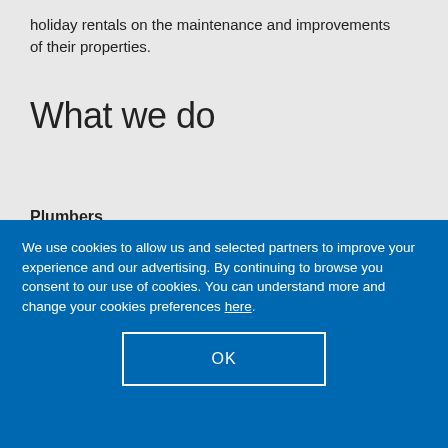holiday rentals on the maintenance and improvements of their properties.
What we do
Plumbers
We use cookies to allow us and selected partners to improve your experience and our advertising. By continuing to browse you consent to our use of cookies. You can understand more and change your cookies preferences here.